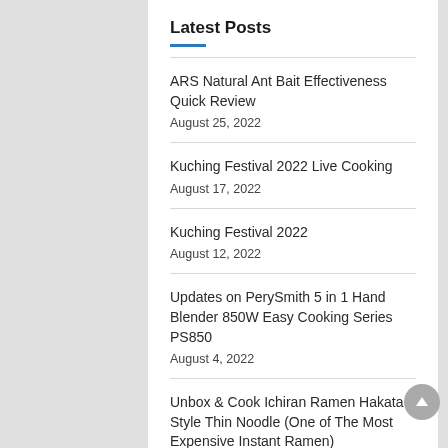Latest Posts
ARS Natural Ant Bait Effectiveness Quick Review
August 25, 2022
Kuching Festival 2022 Live Cooking
August 17, 2022
Kuching Festival 2022
August 12, 2022
Updates on PerySmith 5 in 1 Hand Blender 850W Easy Cooking Series PS850
August 4, 2022
Unbox & Cook Ichiran Ramen Hakata Style Thin Noodle (One of The Most Expensive Instant Ramen)
July 28, 2022